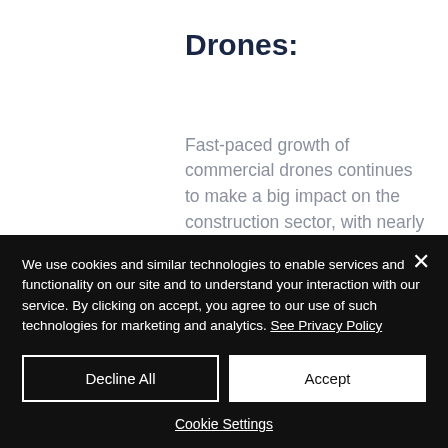Drones:
Fast-paced growth of commercial drones continues to make a big impact on the construction sector, with nearly 40 percent of construction companies using these tools today. These devices assist in major cost and safety benefits which can translate into
We use cookies and similar technologies to enable services and functionality on our site and to understand your interaction with our service. By clicking on accept, you agree to our use of such technologies for marketing and analytics. See Privacy Policy
Decline All
Accept
Cookie Settings